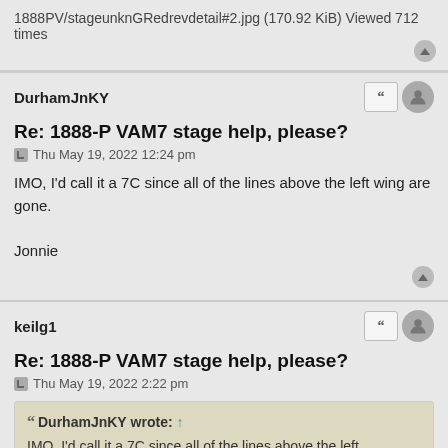1888PV/stageunknGRedrevdetail#2.jpg (170.92 KiB) Viewed 712 times
DurhamJnKY
Re: 1888-P VAM7 stage help, please?
Thu May 19, 2022 12:24 pm
IMO, I'd call it a 7C since all of the lines above the left wing are gone.

Jonnie
keilg1
Re: 1888-P VAM7 stage help, please?
Thu May 19, 2022 2:22 pm
DurhamJnKY wrote: ↑
IMO, I'd call it a 7C since all of the lines above the left